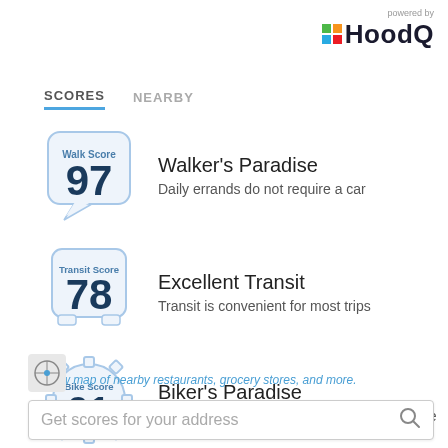[Figure (logo): HoodQ logo with 'powered by' text and colorful H icon]
SCORES   NEARBY
[Figure (infographic): Walk Score badge - speech bubble shape with score 97]
Walker's Paradise
Daily errands do not require a car
[Figure (infographic): Transit Score badge - bus shape with score 78]
Excellent Transit
Transit is convenient for most trips
[Figure (infographic): Bike Score badge - gear/cog shape with score 91]
Biker's Paradise
Daily errands can be accomplished on a bike
View map of nearby restaurants, grocery stores, and more.
Get scores for your address